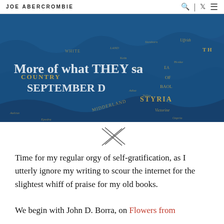JOE ABERCROMBIE
[Figure (illustration): Blue fantasy map background with gold geographic text labels including COUNTRY, STYRIA, MIDDERLAND, etc. Overlaid with large white semi-transparent text reading 'More of what THEY sa... SEPTEMBER D']
[Figure (other): Decorative cross/X symbol made of two crossing lines, rendered in a thin serif style]
Time for my regular orgy of self-gratification, as I utterly ignore my writing to scour the internet for the slightest whiff of praise for my old books.
We begin with John D. Borra, on Flowers from